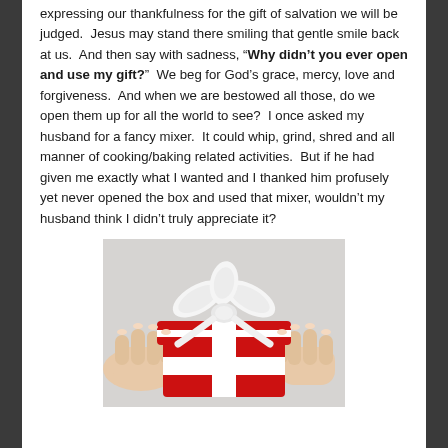expressing our thankfulness for the gift of salvation we will be judged. Jesus may stand there smiling that gentle smile back at us. And then say with sadness, "Why didn't you ever open and use my gift?" We beg for God's grace, mercy, love and forgiveness. And when we are bestowed all those, do we open them up for all the world to see? I once asked my husband for a fancy mixer. It could whip, grind, shred and all manner of cooking/baking related activities. But if he had given me exactly what I wanted and I thanked him profusely yet never opened the box and used that mixer, wouldn't my husband think I didn't truly appreciate it?
[Figure (photo): Hands holding a red gift box with a white ribbon bow]